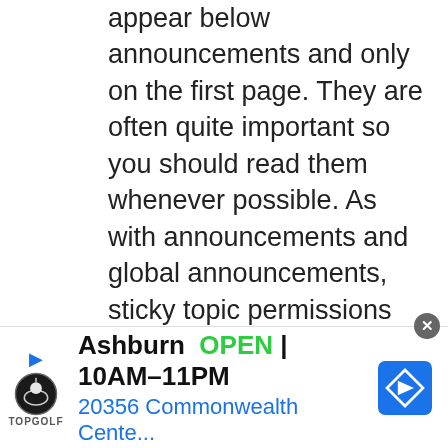appear below announcements and only on the first page. They are often quite important so you should read them whenever possible. As with announcements and global announcements, sticky topic permissions are granted by the board administrator.
Top
What are locked topics?
Locked topics are topics where users can no longer reply and
[Figure (infographic): Topgolf advertisement banner: Ashburn OPEN 10AM-11PM, 20356 Commonwealth Cente..., with Topgolf logo and navigation icon]